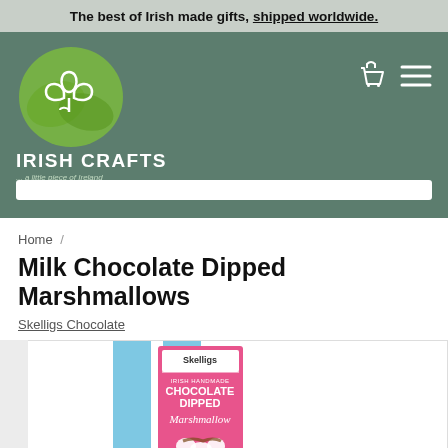The best of Irish made gifts, shipped worldwide.
[Figure (logo): Irish Crafts logo with green shamrock illustration, brand name IRISH CRAFTS and tagline '... a little piece of Ireland' on dark green background with cart and hamburger menu icons]
Home /
Milk Chocolate Dipped Marshmallows
Skelligs Chocolate
[Figure (photo): Product photo showing Skelligs Chocolate Dipped Marshmallow packaging - pink label with blue background strips, text reads 'IRISH HANDMADE CHOCOLATE DIPPED Marshmallow' with marshmallow illustration]